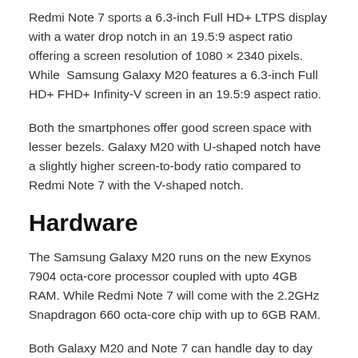Redmi Note 7 sports a 6.3-inch Full HD+ LTPS display with a water drop notch in an 19.5:9 aspect ratio offering a screen resolution of 1080 × 2340 pixels. While  Samsung Galaxy M20 features a 6.3-inch Full HD+ FHD+ Infinity-V screen in an 19.5:9 aspect ratio.
Both the smartphones offer good screen space with lesser bezels. Galaxy M20 with U-shaped notch have a slightly higher screen-to-body ratio compared to Redmi Note 7 with the V-shaped notch.
Hardware
The Samsung Galaxy M20 runs on the new Exynos 7904 octa-core processor coupled with upto 4GB RAM. While Redmi Note 7 will come with the 2.2GHz Snapdragon 660 octa-core chip with up to 6GB RAM.
Both Galaxy M20 and Note 7 can handle day to day tasks and mid-end games with ease. Though, Redmi Note 7 with